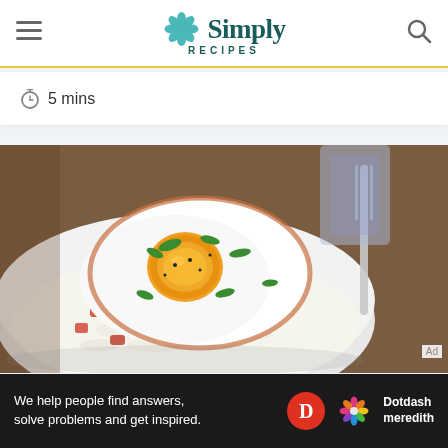Simply Recipes
5 mins
[Figure (photo): A white bowl containing rice topped with a crispy fried egg and chopped vegetables (diced tomatoes/peppers), garnished with fresh green herbs and black pepper. A fork is visible on the right side. Shot from above at an angle on a dark wooden surface.]
Ad
We help people find answers, solve problems and get inspired. Dotdash meredith